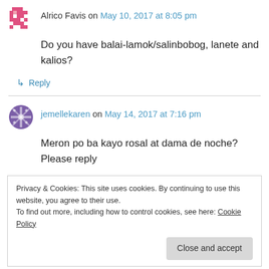[Figure (illustration): Pink/red pixelated avatar icon for Alrico Favis]
Alrico Favis on May 10, 2017 at 8:05 pm
Do you have balai-lamok/salinbobog, lanete and kalios?
↳ Reply
[Figure (illustration): Purple geometric/snowflake avatar icon for jemellekaren]
jemellekaren on May 14, 2017 at 7:16 pm
Meron po ba kayo rosal at dama de noche? Please reply
Privacy & Cookies: This site uses cookies. By continuing to use this website, you agree to their use.
To find out more, including how to control cookies, see here: Cookie Policy
Close and accept